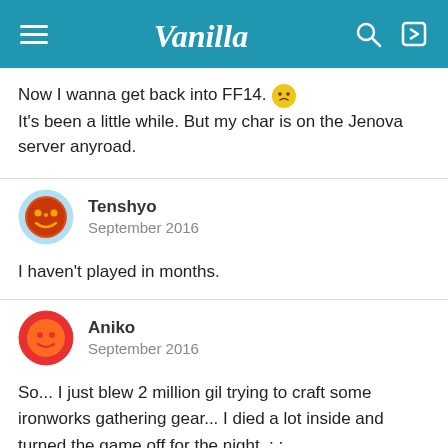Vanilla
Now I wanna get back into FF14. It's been a little while. But my char is on the Jenova server anyroad.
Tenshyo
September 2016
I haven't played in months.
Aniko
September 2016
So... I just blew 2 million gil trying to craft some ironworks gathering gear... I died a lot inside and turned the game off for the night. ; ;